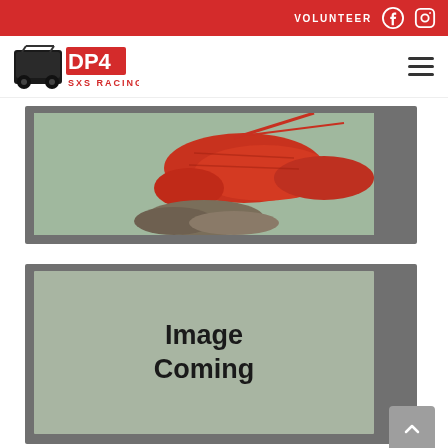VOLUNTEER
[Figure (logo): DP4 SXS Racing logo with side-by-side vehicle silhouette]
[Figure (photo): Close-up photo of a red lobster on a rocky surface, photographed through glass]
[Figure (other): Gray placeholder card with text 'Image Coming']